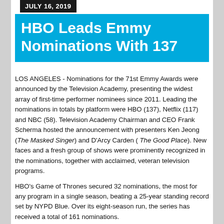JULY 16, 2019
HBO Leads Emmy Nominations With 137
LOS ANGELES - Nominations for the 71st Emmy Awards were announced by the Television Academy, presenting the widest array of first-time performer nominees since 2011. Leading the nominations in totals by platform were HBO (137), Netflix (117) and NBC (58). Television Academy Chairman and CEO Frank Scherma hosted the announcement with presenters Ken Jeong (The Masked Singer) and D'Arcy Carden ( The Good Place). New faces and a fresh group of shows were prominently recognized in the nominations, together with acclaimed, veteran television programs.
HBO's Game of Thrones secured 32 nominations, the most for any program in a single season, beating a 25-year standing record set by NYPD Blue. Over its eight-season run, the series has received a total of 161 nominations.
Game of Thrones was followed by The Marvelous Mrs. Maisel (20), Chernobyl (19), Saturday Night Live (18), Barry (17), Fosse/Verdon (17) and When They See Us (16). In addition, overall cast contributions were acknowledged with Game of Thrones' 10 nominations across five performer categories, and eight nominations across four performer categories for When They See...